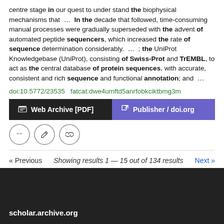centre stage in our quest to understand the biophysical mechanisms that ... In the decade that followed, time-consuming manual processes were gradually superseded with the advent of automated peptide sequencers, which increased the rate of sequence determination considerably. ... ; the UniProt Knowledgebase (UniProt), consisting of Swiss-Prot and TrEMBL, to act as the central database of protein sequences, with accurate, consistent and rich sequence and functional annotation; and ...
doi:10.5772/23535  fatcat:dwe4umftd5anrfobkciktbmg3m
[Figure (other): Two buttons: 'Web Archive [PDF]' (dark/black background) and 'Publisher / doi.org' (purple background), followed by three circular icon buttons (quote, edit, link).]
« Previous   Showing results 1 — 15 out of 134 results   Next »
scholar.archive.org